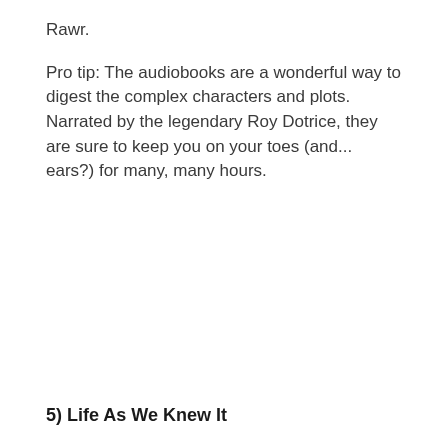Rawr.
Pro tip: The audiobooks are a wonderful way to digest the complex characters and plots. Narrated by the legendary Roy Dotrice, they are sure to keep you on your toes (and... ears?) for many, many hours.
5) Life As We Knew It